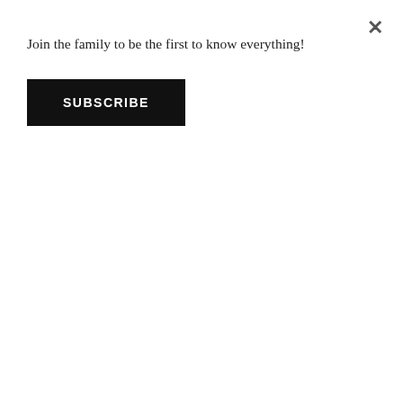Join the family to be the first to know everything!
SUBSCRIBE
their website here.
Despite the terrible suffering and poor living conditions, many of the people still appeared to be very happy and were very friendly. The kids are probably the cutest children in the entire world!This day definitely put first world problems into perspective- you and me, we don't have problems.
New Hope cooked us a lovely Khmer dinner which included roasted dragonflies. After much deliberation, I tried a dragonfly and it actually tasted good! Today, oour tour leader tried to get me to try roasted cockroach but I drew the line there- I hate the pathetic little things too much to ingest them.
This was the first of 2 and a half days spent in Siem Reap, Cambodia.